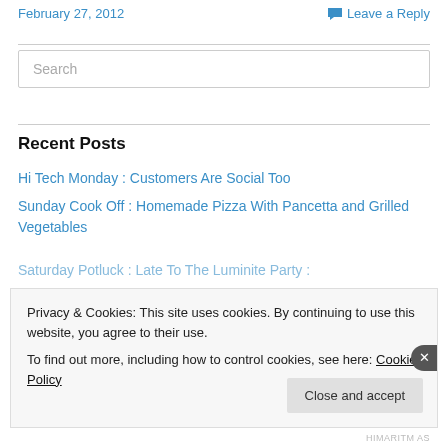February 27, 2012   Leave a Reply
Search
Recent Posts
Hi Tech Monday : Customers Are Social Too
Sunday Cook Off : Homemade Pizza With Pancetta and Grilled Vegetables
Saturday Potluck : Late To The Luminite Party
Privacy & Cookies: This site uses cookies. By continuing to use this website, you agree to their use.
To find out more, including how to control cookies, see here: Cookie Policy
Close and accept
HIMARITM AS